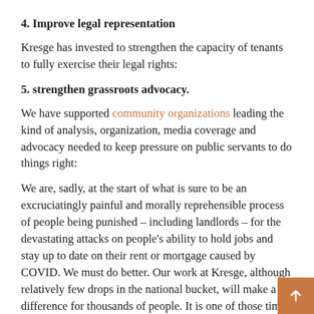4. Improve legal representation
Kresge has invested to strengthen the capacity of tenants to fully exercise their legal rights:
5. strengthen grassroots advocacy.
We have supported community organizations leading the kind of analysis, organization, media coverage and advocacy needed to keep pressure on public servants to do things right:
We are, sadly, at the start of what is sure to be an excruciatingly painful and morally reprehensible process of people being punished – including landlords – for the devastating attacks on people's ability to hold jobs and stay up to date on their rent or mortgage caused by COVID. We must do better. Our work at Kresge, although relatively few drops in the national bucket, will make a difference for thousands of people. It is one of those times when money must be paired with a lucid understanding of how to set in motion an absorption discipline that is the key to having an impact. As long as